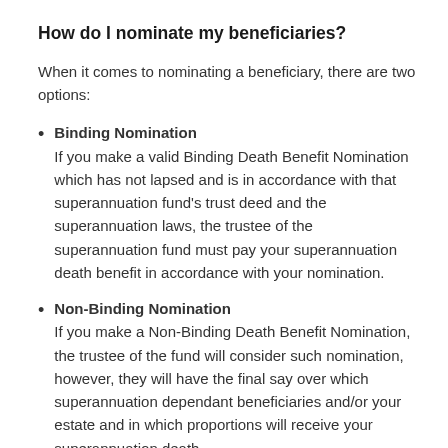How do I nominate my beneficiaries?
When it comes to nominating a beneficiary, there are two options:
Binding Nomination
If you make a valid Binding Death Benefit Nomination which has not lapsed and is in accordance with that superannuation fund’s trust deed and the superannuation laws, the trustee of the superannuation fund must pay your superannuation death benefit in accordance with your nomination.
Non-Binding Nomination
If you make a Non-Binding Death Benefit Nomination, the trustee of the fund will consider such nomination, however, they will have the final say over which superannuation dependant beneficiaries and/or your estate and in which proportions will receive your superannuation death